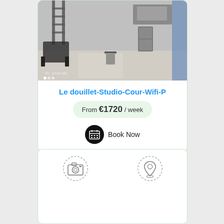[Figure (photo): Interior photo of a studio apartment showing a chair, ladder shelf, kitchen area with fridge, trash bin, and a blue curtained door/window.]
Le douillet-Studio-Cour-Wifi-P
From €1720 / week
Book Now
[Figure (illustration): Two dashed-circle icons: a camera icon on the left and a location pin icon on the right.]